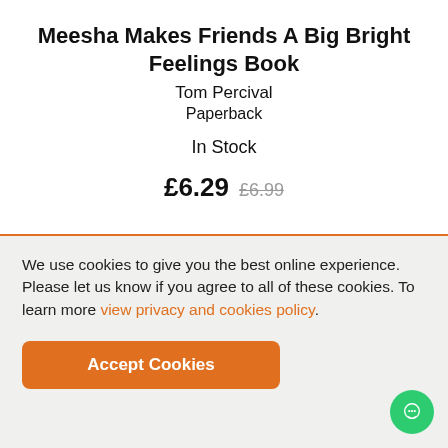Meesha Makes Friends A Big Bright Feelings Book
Tom Percival
Paperback
In Stock
£6.29  £6.99
We use cookies to give you the best online experience. Please let us know if you agree to all of these cookies. To learn more view privacy and cookies policy.
Accept Cookies